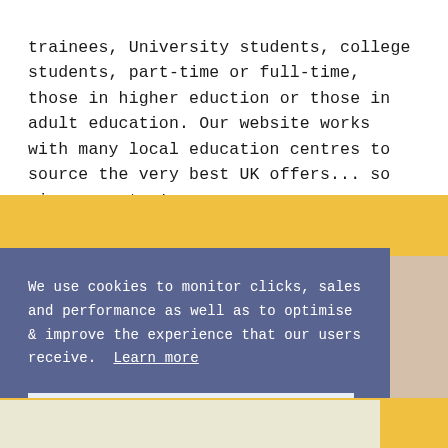trainees, University students, college students, part-time or full-time, those in higher eduction or those in adult education. Our website works with many local education centres to source the very best UK offers... so give us a try!
[Figure (screenshot): Yellow background section with a cookie consent banner overlay. The banner has a dark blue/slate background with white text and a light blue 'GOT IT!' button. A tan/beige panel is visible on the right side.]
We use cookies to monitor clicks, sales and performance as well as to optimise & improve the experience that our users receive. Learn more
GOT IT!